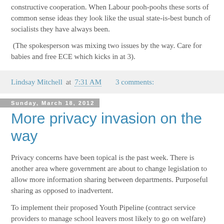This is how communities should operate through voluntary, constructive cooperation. When Labour pooh-poohs these sorts of common sense ideas they look like the usual state-is-best bunch of socialists they have always been.
(The spokesperson was mixing two issues by the way. Care for babies and free ECE which kicks in at 3).
Lindsay Mitchell at 7:31 AM   3 comments:
Sunday, March 18, 2012
More privacy invasion on the way
Privacy concerns have been topical is the past week. There is another area where government are about to change legislation to allow more information sharing between departments. Purposeful sharing as opposed to inadvertent.
To implement their proposed Youth Pipeline (contract service providers to manage school leavers most likely to go on welfare) the Ministry of Social Development requires